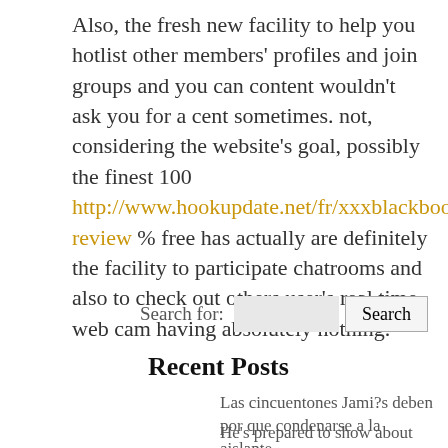Also, the fresh new facility to help you hotlist other members' profiles and join groups and you can content wouldn't ask you for a cent sometimes. not, considering the website's goal, possibly the finest 100 http://www.hookupdate.net/fr/xxxblackbook-review % free has actually are definitely the facility to participate chatrooms and also to check out others user's real time web cam having absolutely nothing.
Search for: [input] Search
Recent Posts
Las cincuentones Jami?s deben por que condenarse a la aislante
He's prepared to show about the extremely the brand new website profiles that are